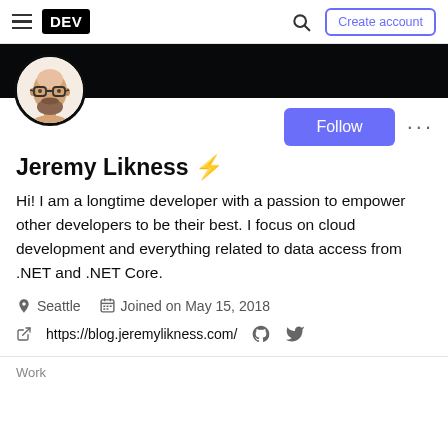DEV — Create account
[Figure (illustration): DEV Community logo and navigation bar with hamburger menu, DEV logo, search icon, and Create account button]
[Figure (photo): Circular avatar of Jeremy Likness — illustrated bald man with glasses and beard]
Follow
Jeremy Likness ⚡
Hi! I am a longtime developer with a passion to empower other developers to be their best. I focus on cloud development and everything related to data access from .NET and .NET Core.
Seattle   Joined on May 15, 2018
https://blog.jeremylikness.com/
Work